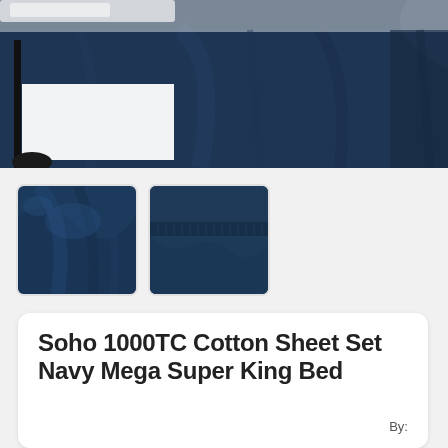[Figure (photo): Main product photo showing a navy blue bed sheet/bedding set on a bed with a black metal frame and white tray/surface visible on the left side.]
[Figure (photo): Thumbnail image 1: Close-up of navy blue cotton fabric/sheet bunched together.]
[Figure (photo): Thumbnail image 2: Close-up of navy blue fitted sheet corner/elastic on a bed.]
Soho 1000TC Cotton Sheet Set Navy Mega Super King Bed
By: